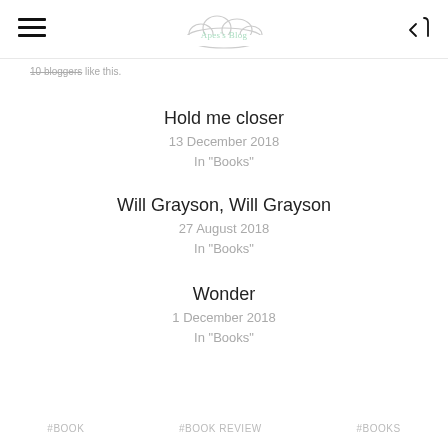Apes's Blog (cloud logo with hamburger menu and back icon)
10 bloggers like this.
Hold me closer
13 December 2018
In "Books"
Will Grayson, Will Grayson
27 August 2018
In "Books"
Wonder
1 December 2018
In "Books"
#BOOK   #BOOK REVIEW   #BOOKS